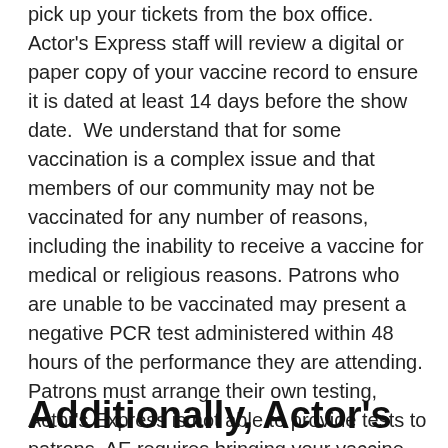pick up your tickets from the box office. Actor's Express staff will review a digital or paper copy of your vaccine record to ensure it is dated at least 14 days before the show date.  We understand that for some vaccination is a complex issue and that members of our community may not be vaccinated for any number of reasons, including the inability to receive a vaccine for medical or religious reasons. Patrons who are unable to be vaccinated may present a negative PCR test administered within 48 hours of the performance they are attending. Patrons must arrange their own testing, Actor's Express is not able to provide tests to patrons. AE requires bringing your vaccine information or negative test results with you to the performance.
Additionally, Actor's